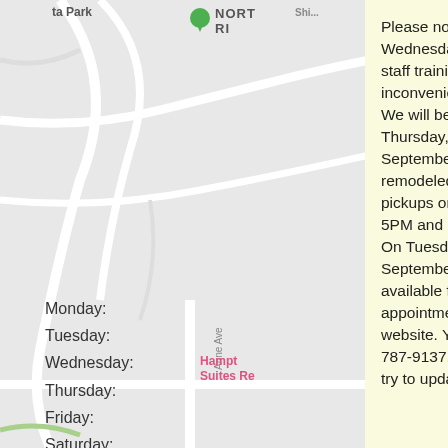[Figure (map): Street map background showing roads and Hampton Inn Suites location, partially obscured by modal popup. Monday through Sunday day labels visible at bottom left.]
Please note we will be closed the first Wednesday of every month until 9:30 AM for staff training. We apologize for any inconvenience.
We will be closed for patient care from Thursday, September 1st, through Tuesday, September 13th, as our office is being remodeled. We will be available for order pickups on Thursday September 1st 8AM to 5PM and Friday September 2nd 8AM to noon. On Tuesday September 6th through Thursday September 8th we will have order pick up available from 8AM to 5PM. To schedule an appointment, please do so here on our website. You may text us questions at 775-787-9137. Thank you for your patience as we try to update our space!